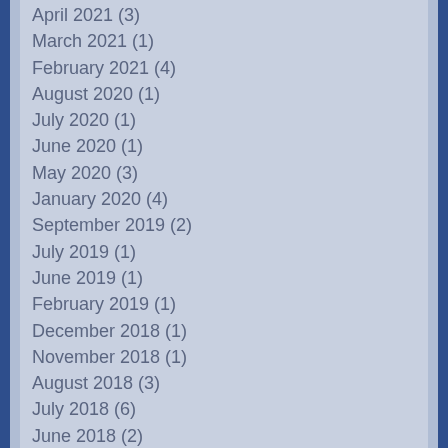April 2021 (3)
March 2021 (1)
February 2021 (4)
August 2020 (1)
July 2020 (1)
June 2020 (1)
May 2020 (3)
January 2020 (4)
September 2019 (2)
July 2019 (1)
June 2019 (1)
February 2019 (1)
December 2018 (1)
November 2018 (1)
August 2018 (3)
July 2018 (6)
June 2018 (2)
May 2018 (1)
April 2018 (1)
March 2018 (9)
January 2018 (4)